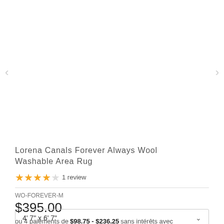[Figure (other): Product image carousel area with left and right navigation arrows, image area is blank/white]
Lorena Canals Forever Always Wool Washable Area Rug
★★★★☆ 1 review
WO-FOREVER-M
$395.00
ou 4 paiements de $98.75 - $236.25 sans intérêts avec sezzle
4' 7" x 6' 7"